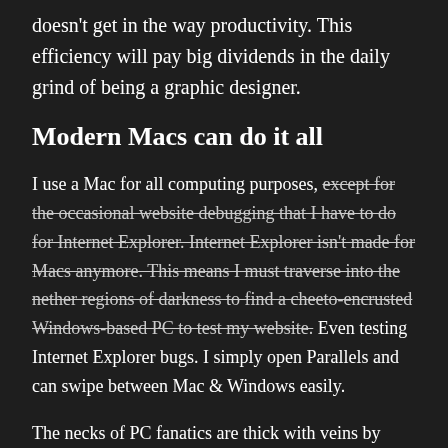doesn't get in the way productivity. This efficiency will pay big dividends in the daily grind of being a graphic designer.
Modern Macs can do it all
I use a Mac for all computing purposes, [strikethrough: except for the occasional website debugging that I have to do for Internet Explorer. Internet Explorer isn't made for Macs anymore. This means I must traverse into the nether regions of darkness to find a cheeto-encrusted Windows-based PC to test my website.] Even testing Internet Explorer bugs. I simply open Parallels and can swipe between Mac & Windows easily.
The necks of PC fanatics are thick with veins by now. I haven't given a lot of statistics, references and bar charts to prove my theories. But as I said before, I'm